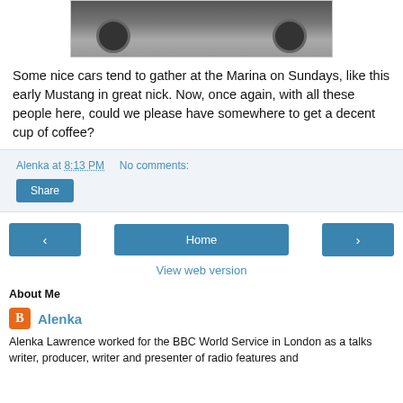[Figure (photo): Bottom portion of a black and white photo of a classic Mustang car at the Marina, showing the lower body and wheels.]
Some nice cars tend to gather at the Marina on Sundays, like this early Mustang in great nick. Now, once again, with all these people here, could we please have somewhere to get a decent cup of coffee?
Alenka at 8:13 PM   No comments:
Share
‹   Home   ›
View web version
About Me
Alenka
Alenka Lawrence worked for the BBC World Service in London as a talks writer, producer, writer and presenter of radio features and